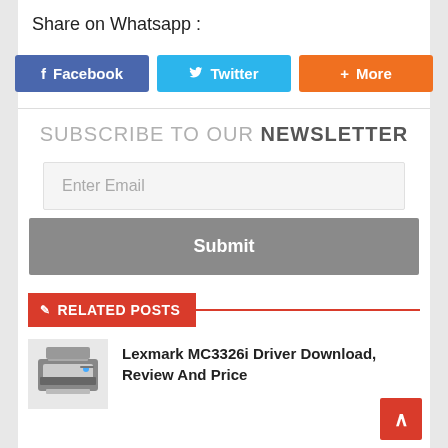Share on Whatsapp :
[Figure (screenshot): Social share buttons: Facebook (blue), Twitter (cyan), More (orange)]
SUBSCRIBE TO OUR NEWSLETTER
[Figure (screenshot): Email subscription form with Enter Email input field and Submit button]
RELATED POSTS
[Figure (photo): Thumbnail of Lexmark MC3326i printer]
Lexmark MC3326i Driver Download, Review And Price